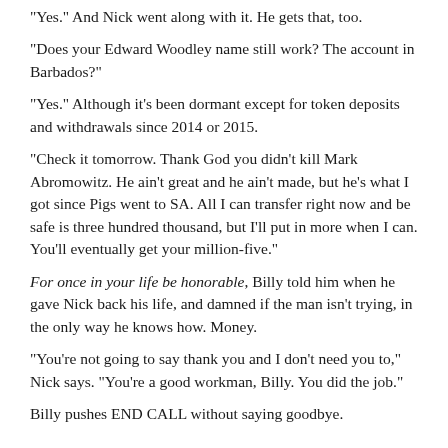“Yes.” And Nick went along with it. He gets that, too.
“Does your Edward Woodley name still work? The account in Barbados?”
“Yes.” Although it’s been dormant except for token deposits and withdrawals since 2014 or 2015.
“Check it tomorrow. Thank God you didn’t kill Mark Abromowitz. He ain’t great and he ain’t made, but he’s what I got since Pigs went to SA. All I can transfer right now and be safe is three hundred thousand, but I’ll put in more when I can. You’ll eventually get your million-five.”
For once in your life be honorable, Billy told him when he gave Nick back his life, and damned if the man isn’t trying, in the only way he knows how. Money.
“You’re not going to say thank you and I don’t need you to,” Nick says. “You’re a good workman, Billy. You did the job.”
Billy pushes END CALL without saying goodbye.